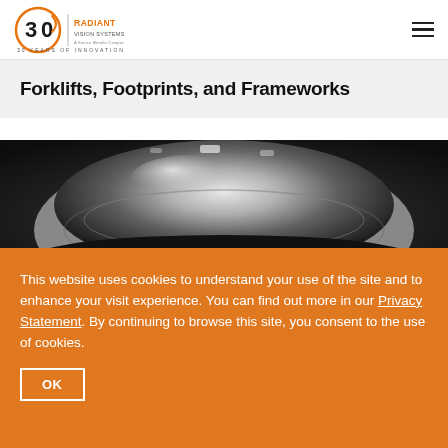Radiant Vision Systems — 30 Years of Innovation
Forklifts, Footprints, and Frameworks
[Figure (photo): Close-up photograph of a shiny metallic dome-shaped camera or imaging device in a dark setting, reflecting light off its curved surface.]
This website uses cookies to understand your use of the site and to enhance your visit experience. You can find out more in our Privacy Statement. By continuing to browse this site, you consent to the use of cookies.
OK